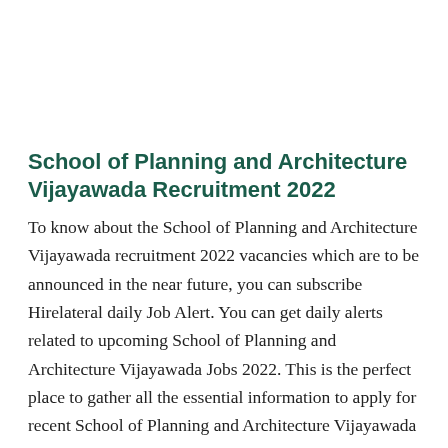School of Planning and Architecture Vijayawada Recruitment 2022
To know about the School of Planning and Architecture Vijayawada recruitment 2022 vacancies which are to be announced in the near future, you can subscribe Hirelateral daily Job Alert. You can get daily alerts related to upcoming School of Planning and Architecture Vijayawada Jobs 2022. This is the perfect place to gather all the essential information to apply for recent School of Planning and Architecture Vijayawada Jobs. Hirelateral gathers you information like School of Planning and Architecture Vijayawada Recruitment, Job description, Total vacancy